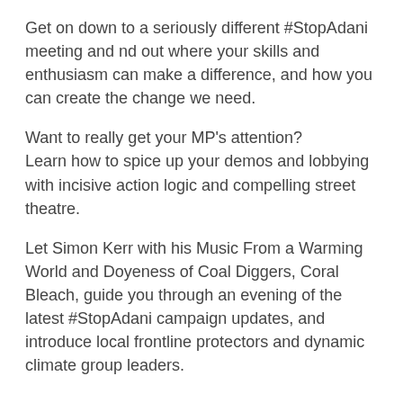Get on down to a seriously different #StopAdani meeting and nd out where your skills and enthusiasm can make a difference, and how you can create the change we need.
Want to really get your MP's attention? Learn how to spice up your demos and lobbying with incisive action logic and compelling street theatre.
Let Simon Kerr with his Music From a Warming World and Doyeness of Coal Diggers, Coral Bleach, guide you through an evening of the latest #StopAdani campaign updates, and introduce local frontline protectors and dynamic climate group leaders.